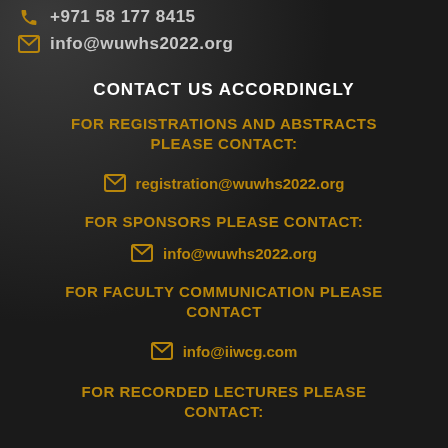+971 58 177 8415
info@wuwhs2022.org
CONTACT US ACCORDINGLY
FOR REGISTRATIONS AND ABSTRACTS PLEASE CONTACT:
registration@wuwhs2022.org
FOR SPONSORS PLEASE CONTACT:
info@wuwhs2022.org
FOR FACULTY COMMUNICATION PLEASE CONTACT
info@iiwcg.com
FOR RECORDED LECTURES PLEASE CONTACT: